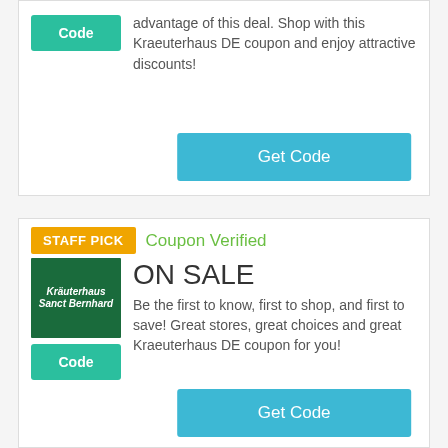advantage of this deal. Shop with this Kraeuterhaus DE coupon and enjoy attractive discounts!
Get Code
STAFF PICK
Coupon Verified
[Figure (logo): Kraeuterhaus Sanct Bernhard logo on dark green background]
Code
ON SALE
Be the first to know, first to shop, and first to save! Great stores, great choices and great Kraeuterhaus DE coupon for you!
Get Code